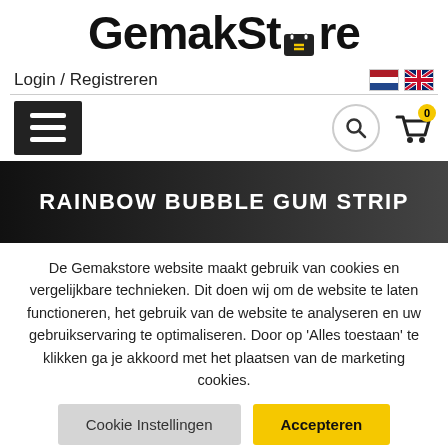GemakStore
Login / Registreren
[Figure (screenshot): Navigation bar with hamburger menu icon, search icon, and shopping cart icon with badge showing 0]
RAINBOW BUBBLE GUM STRIP
De Gemakstore website maakt gebruik van cookies en vergelijkbare technieken. Dit doen wij om de website te laten functioneren, het gebruik van de website te analyseren en uw gebruikservaring te optimaliseren. Door op 'Alles toestaan' te klikken ga je akkoord met het plaatsen van de marketing cookies.
Cookie Instellingen   Accepteren